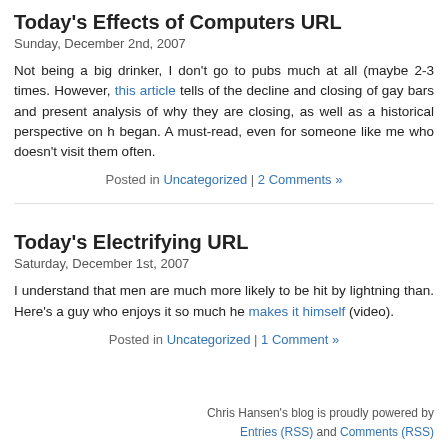Today's Effects of Computers URL
Sunday, December 2nd, 2007
Not being a big drinker, I don't go to pubs much at all (maybe 2-3 times. However, this article tells of the decline and closing of gay bars and present analysis of why they are closing, as well as a historical perspective on h began. A must-read, even for someone like me who doesn't visit them often.
Posted in Uncategorized | 2 Comments »
Today's Electrifying URL
Saturday, December 1st, 2007
I understand that men are much more likely to be hit by lightning than. Here's a guy who enjoys it so much he makes it himself (video).
Posted in Uncategorized | 1 Comment »
Chris Hansen's blog is proudly powered by Entries (RSS) and Comments (RSS)